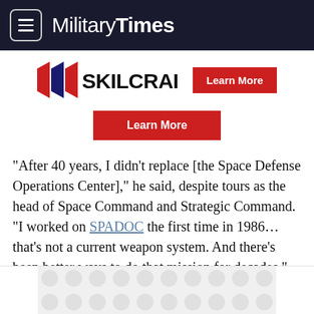MilitaryTimes
[Figure (logo): SKILCRAFT logo with red/blue chevron stripes and a red Learn More button]
[Figure (other): Red Learn More button centered]
“After 40 years, I didn’t replace [the Space Defense Operations Center],” he said, despite tours as the head of Space Command and Strategic Command. “I worked on SPADOC the first time in 1986… that’s not a current weapon system. And there’s been better ways to do that mission for decades.”
[Figure (other): Gray advertisement placeholder with circular pattern]